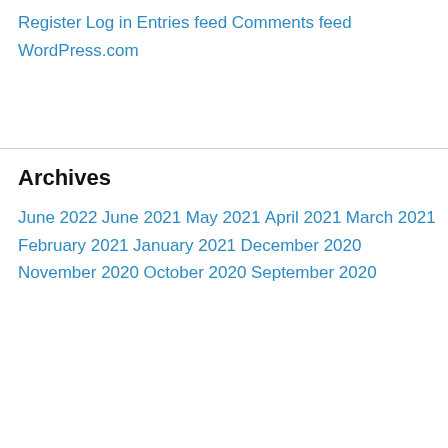Register
Log in
Entries feed
Comments feed
WordPress.com
Archives
June 2022
June 2021
May 2021
April 2021
March 2021
February 2021
January 2021
December 2020
November 2020
October 2020
September 2020